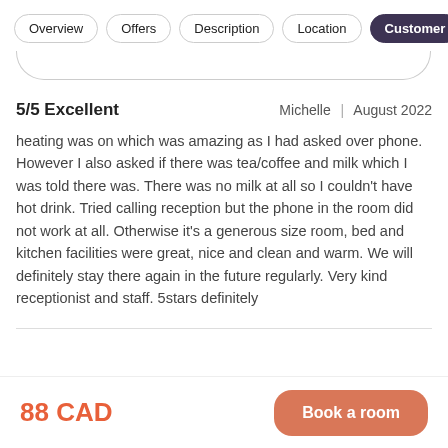Overview | Offers | Description | Location | Customer
5/5 Excellent   Michelle | August 2022
heating was on which was amazing as I had asked over phone. However I also asked if there was tea/coffee and milk which I was told there was. There was no milk at all so I couldn't have hot drink. Tried calling reception but the phone in the room did not work at all. Otherwise it's a generous size room, bed and kitchen facilities were great, nice and clean and warm. We will definitely stay there again in the future regularly. Very kind receptionist and staff. 5stars definitely
88 CAD
Book a room